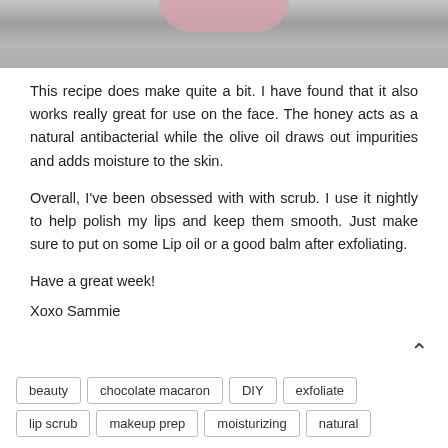[Figure (photo): Top portion of a photo showing a person's lips with pink lipstick and a gray fur collar or texture]
This recipe does make quite a bit. I have found that it also works really great for use on the face. The honey acts as a natural antibacterial while the olive oil draws out impurities and adds moisture to the skin.
Overall, I've been obsessed with with scrub. I use it nightly to help polish my lips and keep them smooth. Just make sure to put on some Lip oil or a good balm after exfoliating.
Have a great week!
Xoxo Sammie
beauty
chocolate macaron
DIY
exfoliate
lip scrub
makeup prep
moisturizing
natural